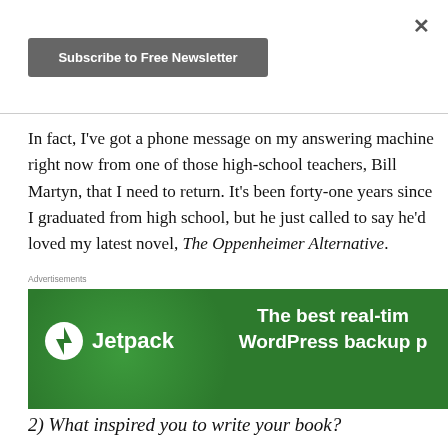[Figure (other): Close button (×) in top right corner of a modal overlay]
[Figure (other): Dark gray 'Subscribe to Free Newsletter' button]
In fact, I've got a phone message on my answering machine right now from one of those high-school teachers, Bill Martyn, that I need to return. It's been forty-one years since I graduated from high school, but he just called to say he'd loved my latest novel, The Oppenheimer Alternative.
Advertisements
[Figure (other): Jetpack advertisement banner: green background with Jetpack logo on left and text 'The best real-tim... WordPress backup p...' on right]
2) What inspired you to write your book?